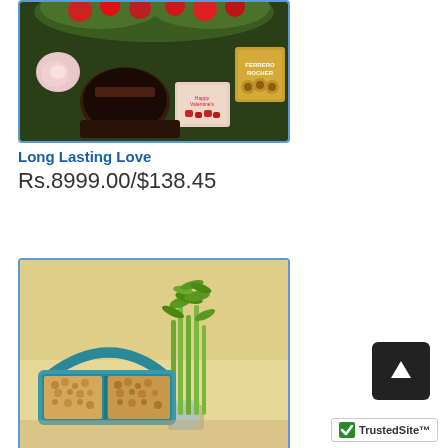[Figure (photo): Gift set photo showing heart-shaped chocolate cake, red roses, greeting card, and Ferrero Rocher chocolates on a dark background]
Long Lasting Love
Rs.8999.00/$138.45
[Figure (photo): Lucky bamboo plant in a glass vase with a teal handled dry fruits basket containing nuts, on a yellow background]